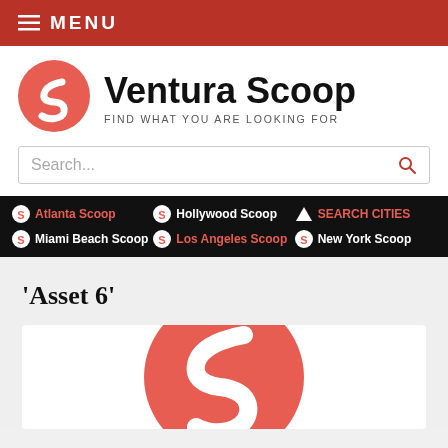MENU
Ventura Scoop
FIND WHAT YOU ARE LOOKING FOR
Search...
Atlanta Scoop | Hollywood Scoop | SEARCH CITIES | Miami Beach Scoop | Los Angeles Scoop | New York Scoop
'Asset 6'
[Figure (logo): Large Ventura Scoop logo: red circle with white S-shaped scoop icon]